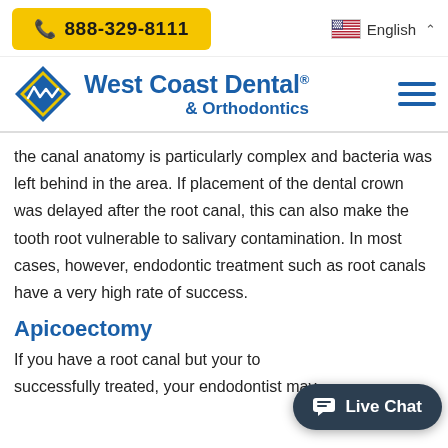📞 888-329-8111 | English
[Figure (logo): West Coast Dental & Orthodontics logo with blue diamond shape and company name]
the canal anatomy is particularly complex and bacteria was left behind in the area. If placement of the dental crown was delayed after the root canal, this can also make the tooth root vulnerable to salivary contamination. In most cases, however, endodontic treatment such as root canals have a very high rate of success.
Apicoectomy
If you have a root canal but your tooth wasn't successfully treated, your endodontist may